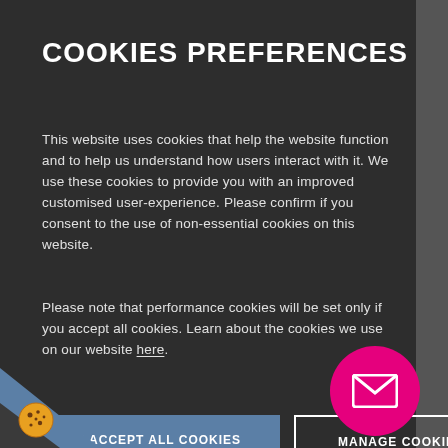COOKIES PREFERENCES
This website uses cookies that help the website function and to help us understand how users interact with it. We use these cookies to provide you with an improved customised user-experience. Please confirm if you consent to the use of non-essential cookies on this website.
Please note that performance cookies will be set only if you accept all cookies. Learn about the cookies we use on our website here.
I ACCEPT ALL COOKIES
MANAGE COOKIES
[Figure (illustration): Magenta circular button with envelope/email icon in bottom right corner]
[Figure (illustration): Cookie icon in bottom left corner with dark triangular corner graphic]